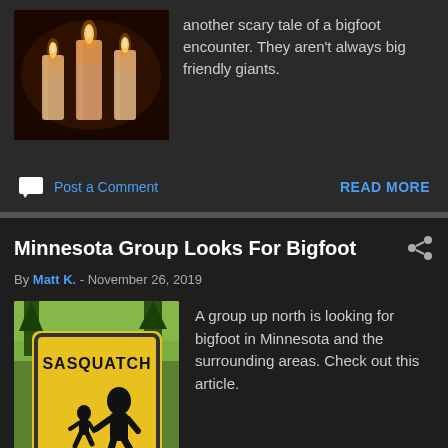[Figure (photo): Photo of lit candles in dark setting]
another scary tale of a bigfoot encounter. They aren't always big friendly giants.
Post a Comment
READ MORE
Minnesota Group Looks For Bigfoot
By Matt K. - November 26, 2019
[Figure (photo): Yellow Sasquatch X-ING crossing sign with bigfoot silhouette]
A group up north is looking for bigfoot in Minnesota and the surrounding areas. Check out this article.
Post a Comment
READ MORE